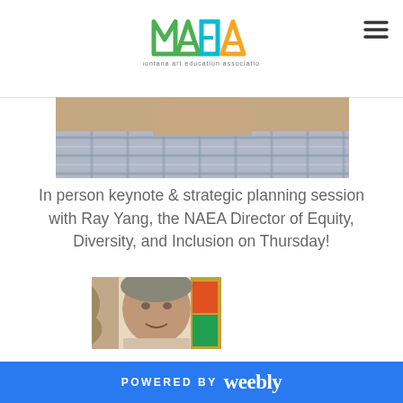MAEA - Montana Art Education Association
[Figure (photo): Cropped photo showing the chin and neck of a person wearing a plaid shirt]
In person keynote & strategic planning session with Ray Yang, the NAEA Director of Equity, Diversity, and Inclusion on Thursday!
[Figure (photo): Portrait photo of Ray Yang smiling, with colorful artwork visible in the background]
POWERED BY weebly